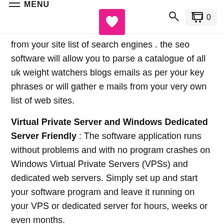MENU [logo] [search] [cart] 0
from your site list of search engines . the seo software will allow you to parse a catalogue of all uk weight watchers blogs emails as per your key phrases or will gather e mails from your very own list of web sites.
Virtual Private Server and Windows Dedicated Server Friendly : The software application runs without problems and with no program crashes on Windows Virtual Private Servers (VPSs) and dedicated web servers. Simply set up and start your software program and leave it running on your VPS or dedicated server for hours, weeks or even months.
Internet Search Engine Operators - you have the ability to use our list of common search engine operators to your list of keyword phrases to find a list of all uk weight watchers blogs that accept guest publications. Google